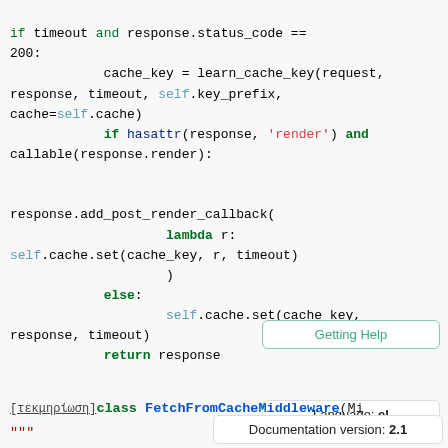if timeout and response.status_code == 200:
    cache_key = learn_cache_key(request, response, timeout, self.key_prefix, cache=self.cache)
            if hasattr(response, 'render') and callable(response.render):

 response.add_post_render_callback(
                        lambda r:
self.cache.set(cache_key, r, timeout)
                        )
                else:
                        self.cache.set(cache_key,
response, timeout)
                return response
[τεκμηρίωση]class FetchFromCacheMiddleware(Mi...
   """